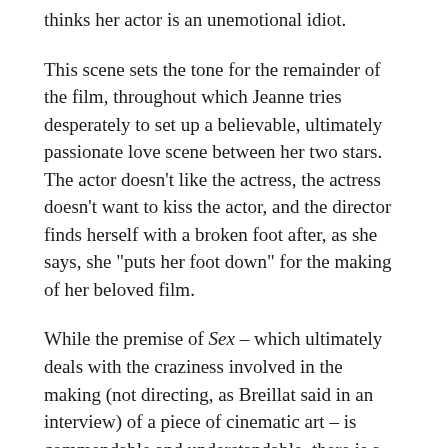thinks her actor is an unemotional idiot.
This scene sets the tone for the remainder of the film, throughout which Jeanne tries desperately to set up a believable, ultimately passionate love scene between her two stars. The actor doesn't like the actress, the actress doesn't want to kiss the actor, and the director finds herself with a broken foot after, as she says, she "puts her foot down" for the making of her beloved film.
While the premise of Sex – which ultimately deals with the craziness involved in the making (not directing, as Breillat said in an interview) of a piece of cinematic art – is commendable and understandable, there is a lot left to be desired from Breillat's newest project. There are conversations that seemingly never lead to anything, relationships that come out of nowhere but never develop, and characters who really have no reason to like or, for that matter, dislike each other. Perhaps these elements are left out because the whole purpose of the film is to examine what happens behind a set's "closed doors," but ultimately, Breillat leaves too much emotional